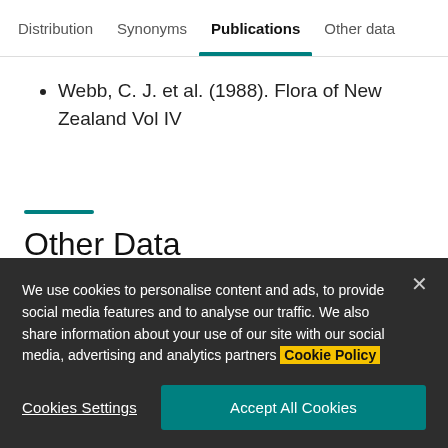Distribution | Synonyms | Publications | Other data
Webb, C. J. et al. (1988). Flora of New Zealand Vol IV
Other Data
We use cookies to personalise content and ads, to provide social media features and to analyse our traffic. We also share information about your use of our site with our social media, advertising and analytics partners Cookie Policy
Cookies Settings | Accept All Cookies